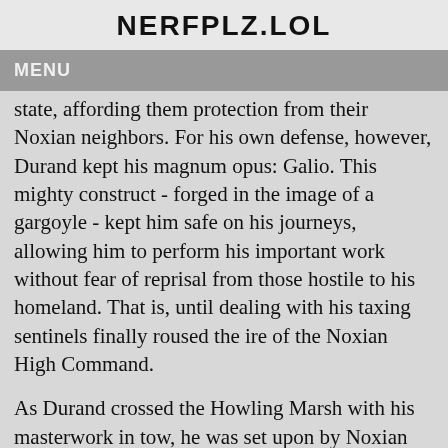NERFPLZ.LOL
MENU
state, affording them protection from their Noxian neighbors. For his own defense, however, Durand kept his magnum opus: Galio. This mighty construct - forged in the image of a gargoyle - kept him safe on his journeys, allowing him to perform his important work without fear of reprisal from those hostile to his homeland. That is, until dealing with his taxing sentinels finally roused the ire of the Noxian High Command.
As Durand crossed the Howling Marsh with his masterwork in tow, he was set upon by Noxian assassins in force. Outnumbered and overwhelmed, Galio looked on in horror as the murderers cut down his charge, executing him swiftly before vanishing